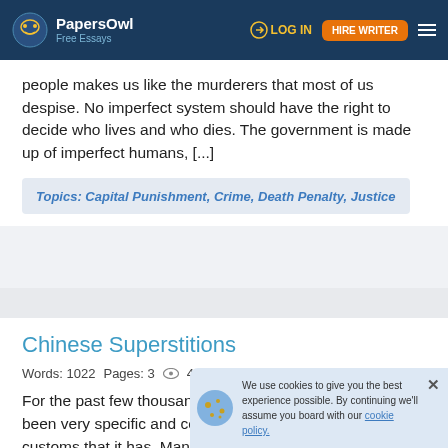PapersOwl Free Essays | LOG IN | HIRE WRITER
people makes us like the murderers that most of us despise. No imperfect system should have the right to decide who lives and who dies. The government is made up of imperfect humans, [...]
Topics: Capital Punishment, Crime, Death Penalty, Justice
Chinese Superstitions
Words: 1022   Pages: 3   4803
For the past few thousand years, the culture of China has been very specific and constant with the traditions and customs that it has. Many of these traditions can be seen by some as superstitions. Several of the superstitions in China are predominantly based on the luck and the fortune that it can bring or [...]
We use cookies to give you the best experience possible. By continuing we'll assume you board with our cookie policy.